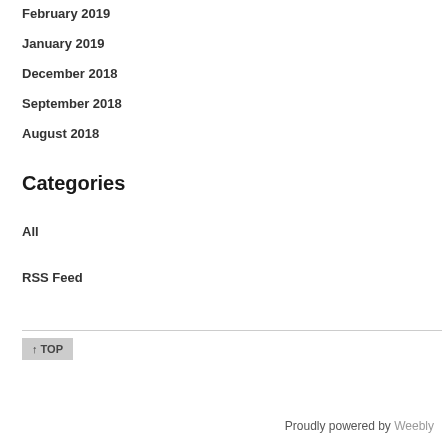February 2019
January 2019
December 2018
September 2018
August 2018
Categories
All
RSS Feed
Proudly powered by Weebly